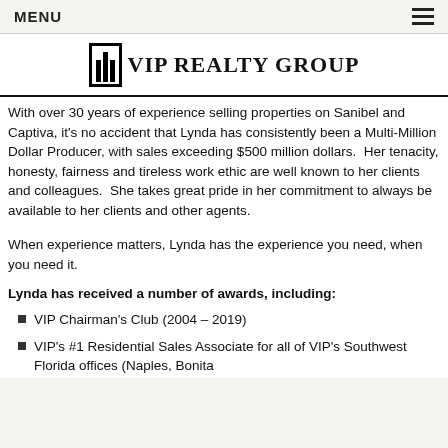MENU
[Figure (logo): VIP Realty Group logo with vertical bar chart icon and text]
With over 30 years of experience selling properties on Sanibel and Captiva, it's no accident that Lynda has consistently been a Multi-Million Dollar Producer, with sales exceeding $500 million dollars.  Her tenacity, honesty, fairness and tireless work ethic are well known to her clients and colleagues.  She takes great pride in her commitment to always be available to her clients and other agents.
When experience matters, Lynda has the experience you need, when you need it.
Lynda has received a number of awards, including:
VIP Chairman's Club (2004 – 2019)
VIP's #1 Residential Sales Associate for all of VIP's Southwest Florida offices (Naples, Bonita